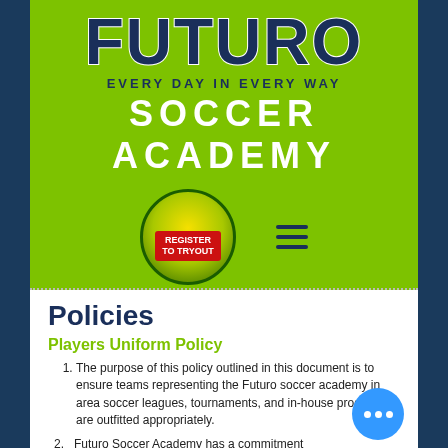[Figure (logo): Futuro Soccer Academy logo with green background showing FUTURO in large dark blue bold letters, tagline EVERY DAY IN EVERY WAY, SOCCER ACADEMY in white bold letters, a circular badge with REGISTER TO TRYOUT in red, and a hamburger menu icon]
Policies
Players Uniform Policy
The purpose of this policy outlined in this document is to ensure teams representing the Futuro soccer academy in area soccer leagues, tournaments, and in-house programs are outfitted appropriately.
Futuro Soccer Academy has a commitment to provide serviceable and attractive uniforms consistent with Club branding to all representative and